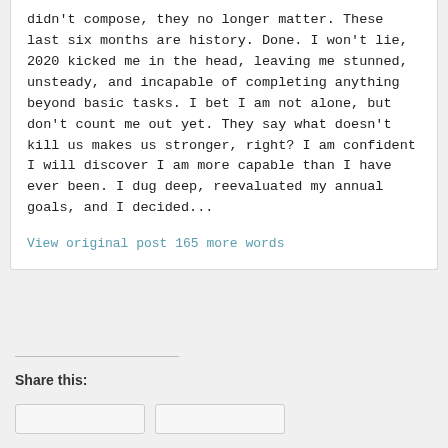didn't compose, they no longer matter. These last six months are history. Done. I won't lie, 2020 kicked me in the head, leaving me stunned, unsteady, and incapable of completing anything beyond basic tasks. I bet I am not alone, but don't count me out yet. They say what doesn't kill us makes us stronger, right? I am confident I will discover I am more capable than I have ever been. I dug deep, reevaluated my annual goals, and I decided...
View original post 165 more words
Share this: